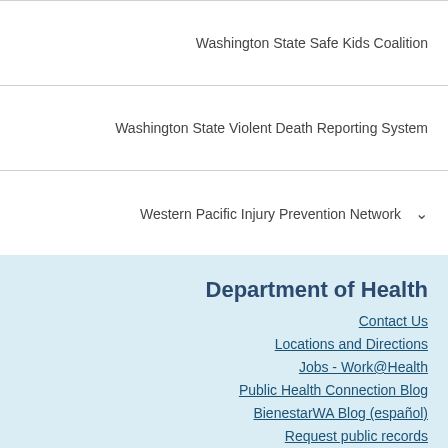Washington State Safe Kids Coalition
Washington State Violent Death Reporting System
Western Pacific Injury Prevention Network
Department of Health
Contact Us
Locations and Directions
Jobs - Work@Health
Public Health Connection Blog
BienestarWA Blog (español)
Request public records
Rule Making